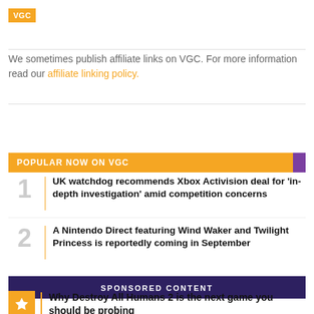[Figure (logo): VGC logo in orange box]
We sometimes publish affiliate links on VGC. For more information read our affiliate linking policy.
POPULAR NOW ON VGC
1 UK watchdog recommends Xbox Activision deal for 'in-depth investigation' amid competition concerns
2 A Nintendo Direct featuring Wind Waker and Twilight Princess is reportedly coming in September
SPONSORED CONTENT
Why Destroy All Humans 2 is the next game you should be probing